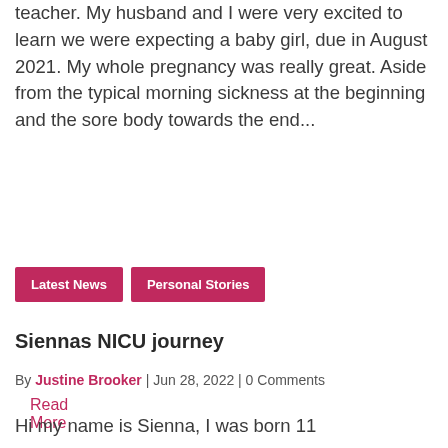teacher. My husband and I were very excited to learn we were expecting a baby girl, due in August 2021. My whole pregnancy was really great. Aside from the typical morning sickness at the beginning and the sore body towards the end...
Read More
Latest News
Personal Stories
Siennas NICU journey
By Justine Brooker | Jun 28, 2022 | 0 Comments
Hi my name is Sienna, I was born 11